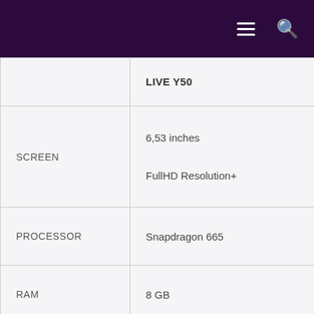|  | LIVE Y50 |
| --- | --- |
| SCREEN | 6,53 inches
FullHD Resolution+ |
| PROCESSOR | Snapdragon 665 |
| RAM | 8 GB |
| STORAGE | 128 GB + micro SD |